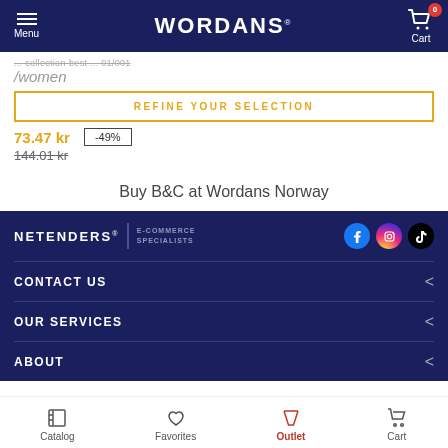WORDANS
REFINE YOUR SELECTION
73.47 kr  -49%
144.01 kr
Buy B&C at Wordans Norway
[Figure (logo): NETENDERS® E-COMMERCE SPECIALISTS logo with Facebook, Instagram, TikTok social icons]
CONTACT US
OUR SERVICES
ABOUT
Catalog  Favorites  Outlet  Cart